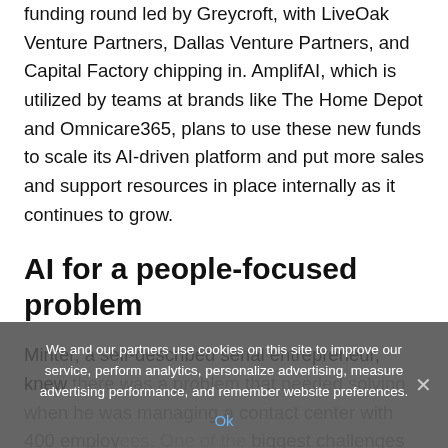funding round led by Greycroft, with LiveOak Venture Partners, Dallas Venture Partners, and Capital Factory chipping in. AmplifAI, which is utilized by teams at brands like The Home Depot and Omnicare365, plans to use these new funds to scale its AI-driven platform and put more sales and support resources in place internally as it continues to grow.
AI for a people-focused problem
Minter, a self-described serial entrepreneur, knew there was a problem that needed solving when he was managing a contact center with 400 employees. One of the biggest challenges of managing such a sizable
We and our partners use cookies on this site to improve our service, perform analytics, personalize advertising, measure advertising performance, and remember website preferences.